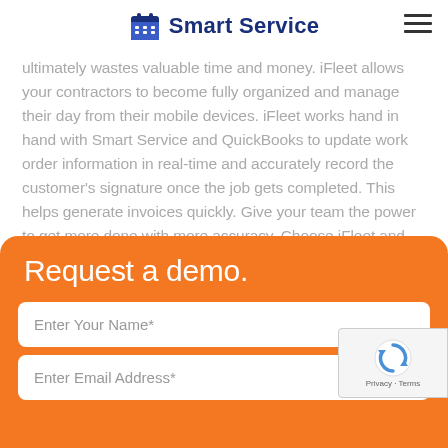Smart Service
ultimately wastes valuable time and money. iFleet allows your contractors to become fully organized and manage their day from their mobile devices. iFleet works hand in hand with Smart Service and QuickBooks to update work order information in real-time and accurately record the customer's signature once the job gets completed. This helps generate invoices quickly. Give your team the power to get more done with more accuracy. Choose iFleet and Smart Service.
Request a demo.
Enter Your Name*
Enter Email Address*